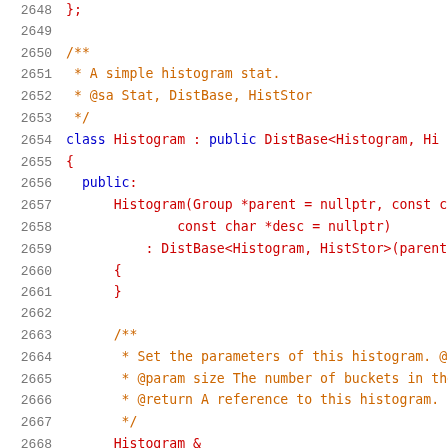Code listing lines 2648-2668 showing C++ Histogram class definition and documentation comments